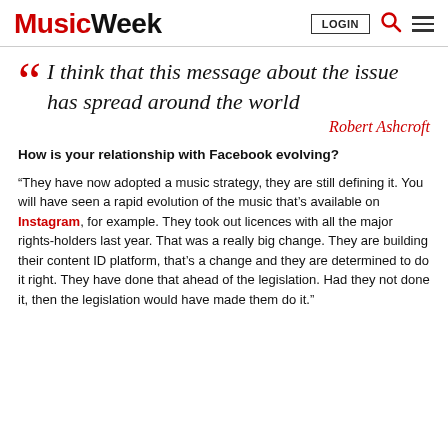Music Week | LOGIN
“I think that this message about the issue has spread around the world
Robert Ashcroft
How is your relationship with Facebook evolving?
“They have now adopted a music strategy, they are still defining it. You will have seen a rapid evolution of the music that’s available on Instagram, for example. They took out licences with all the major rights-holders last year. That was a really big change. They are building their content ID platform, that’s a change and they are determined to do it right. They have done that ahead of the legislation. Had they not done it, then the legislation would have made them do it.”